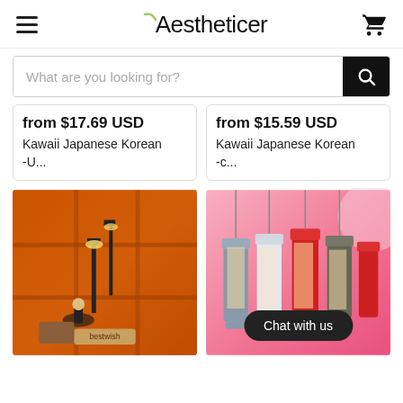Aestheticer
What are you looking for?
from $17.69 USD
Kawaii Japanese Korean -U...
from $15.59 USD
Kawaii Japanese Korean -C...
[Figure (photo): Miniature Spirited Away figurines with glowing lamp post, bestwish label, warm orange background with shelves]
[Figure (photo): Multiple decorative lanterns with glow, pink background, Chat with us button overlay]